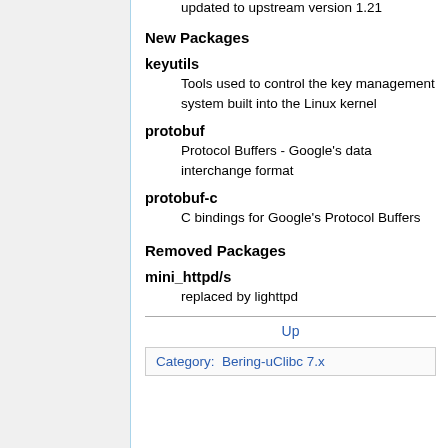updated to upstream version 1.21
New Packages
keyutils
Tools used to control the key management system built into the Linux kernel
protobuf
Protocol Buffers - Google's data interchange format
protobuf-c
C bindings for Google's Protocol Buffers
Removed Packages
mini_httpd/s
replaced by lighttpd
Up
Category:  Bering-uClibc 7.x